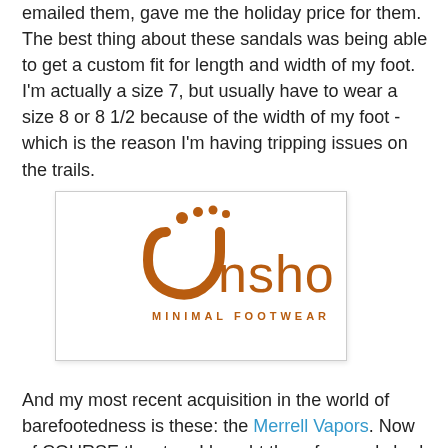emailed them, gave me the holiday price for them. The best thing about these sandals was being able to get a custom fit for length and width of my foot. I'm actually a size 7, but usually have to wear a size 8 or 8 1/2 because of the width of my foot - which is the reason I'm having tripping issues on the trails.
[Figure (logo): Unshoes Minimal Footwear logo — stylized brown/orange lettering with footprint dots above]
And my most recent acquisition in the world of barefootedness is these: the Merrell Vapors. Now of COURSE the store I bought them from only had the black and pink color......isn't the green on Amazon snazzy? My last pair of well worn Merrell's were these orange things - an excellent compromise between performance in the stirrup and performance on the ground, but they were more shoe like and I was having problems with my toes catching on rocks on the ground, and some blisters/rubbing on long runs and